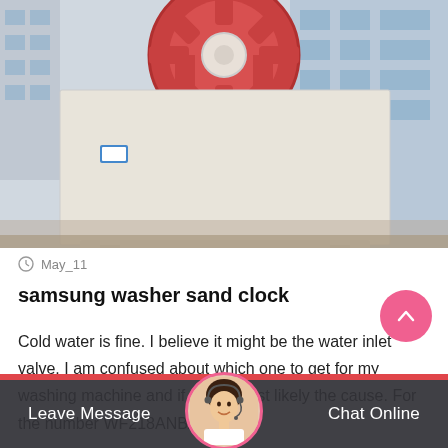[Figure (photo): Large industrial sand washer machine with red wheel/gear structure on top and white/cream colored body, photographed outdoors in front of a modern building with glass facade.]
May_11
samsung washer sand clock
Cold water is fine. I believe it might be the water inlet valve. I am confused about which one to get for my washing machine and if this is most likely the cause. For the number WF218ANB/XAA....
[Figure (photo): Customer service representative avatar photo - woman with headset, smiling]
Leave Message
Chat Online